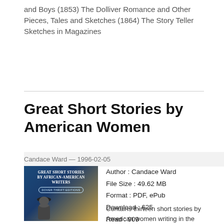and Boys (1853) The Dolliver Romance and Other Pieces, Tales and Sketches (1864) The Story Teller Sketches in Magazines
Great Short Stories by American Women
Candace Ward — 1996-02-05
[Figure (photo): Book cover of 'Great Short Stories by African-American Writers' Dover Thrift Editions, showing a black and white photo of a woman wearing a hat]
Author : Candace Ward
File Size : 49.62 MB
Format : PDF, ePub
Download : 625
Read : 909
Download »
Contains thirteen short stories by American women writing in the